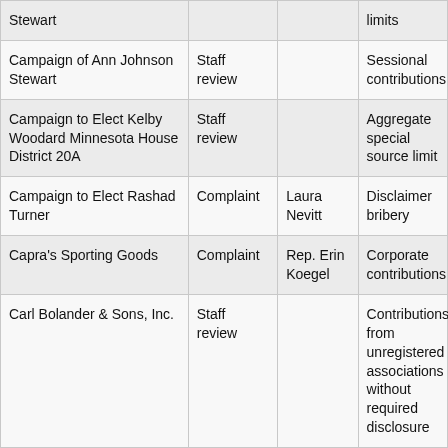| Respondent | Type | Complainant | Issue(s) |
| --- | --- | --- | --- |
| Stewart |  |  | limits |
| Campaign of Ann Johnson Stewart | Staff review |  | Sessional contributions |
| Campaign to Elect Kelby Woodard Minnesota House District 20A | Staff review |  | Aggregate special source limit |
| Campaign to Elect Rashad Turner | Complaint | Laura Nevitt | Disclaimer bribery |
| Capra's Sporting Goods | Complaint | Rep. Erin Koegel | Corporate contributions |
| Carl Bolander & Sons, Inc. | Staff review |  | Contributions from unregistered associations without required disclosure |
| Carlie (Kotyza-Witthuhn) for House | Staff review |  | Aggregate special source limit; approved expenditure reporting; circumvention |